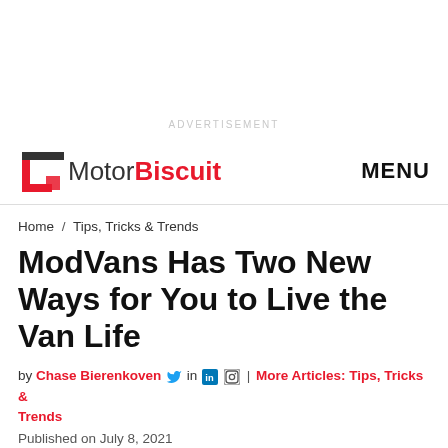ADVERTISEMENT
MotorBiscuit  MENU
Home / Tips, Tricks & Trends
ModVans Has Two New Ways for You to Live the Van Life
by Chase Bierenkoven [twitter] in [linkedin] [instagram] | More Articles: Tips, Tricks & Trends
Published on July 8, 2021
California-based company ModVans has seen